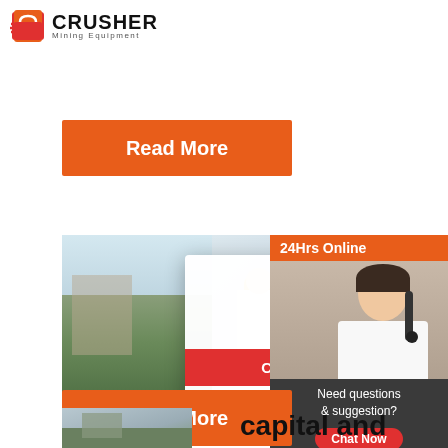[Figure (logo): Crusher Mining Equipment logo with red shopping bag icon and bold CRUSHER text]
Read More
[Figure (photo): Mining site with workers in yellow hard hats, industrial background]
[Figure (screenshot): Live Chat popup overlay with red LIVE CHAT title, Chat now and Chat later buttons, and female agent with headset on right sidebar showing 24Hrs Online, Need questions & suggestion? Chat Now, Enquiry, limingjlmofen@sina.com]
Read More
capital and